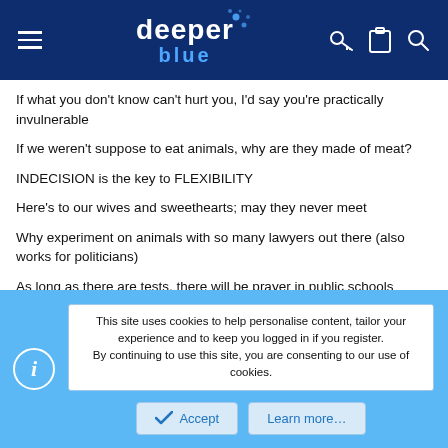deeper blue — navigation header
If what you don't know can't hurt you, I'd say you're practically invulnerable
If we weren't suppose to eat animals, why are they made of meat?
INDECISION is the key to FLEXIBILITY
Here's to our wives and sweethearts; may they never meet
Why experiment on animals with so many lawyers out there (also works for politicians)
As long as there are tests, there will be prayer in public schools
The gene pool could use a little chlorine
This site uses cookies to help personalise content, tailor your experience and to keep you logged in if you register.
By continuing to use this site, you are consenting to our use of cookies.